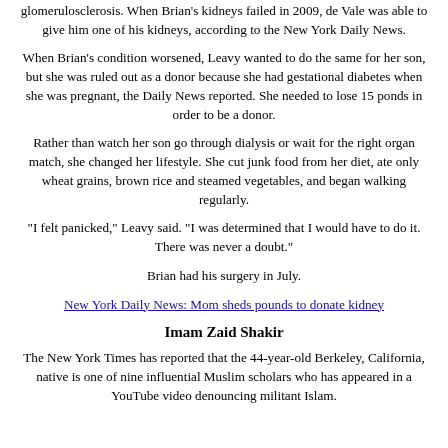glomerulosclerosis. When Brian's kidneys failed in 2009, de Vale was able to give him one of his kidneys, according to the New York Daily News.
When Brian's condition worsened, Leavy wanted to do the same for her son, but she was ruled out as a donor because she had gestational diabetes when she was pregnant, the Daily News reported. She needed to lose 15 ponds in order to be a donor.
Rather than watch her son go through dialysis or wait for the right organ match, she changed her lifestyle. She cut junk food from her diet, ate only wheat grains, brown rice and steamed vegetables, and began walking regularly.
"I felt panicked," Leavy said. "I was determined that I would have to do it. There was never a doubt."
Brian had his surgery in July.
New York Daily News: Mom sheds pounds to donate kidney
Imam Zaid Shakir
The New York Times has reported that the 44-year-old Berkeley, California, native is one of nine influential Muslim scholars who has appeared in a YouTube video denouncing militant Islam.